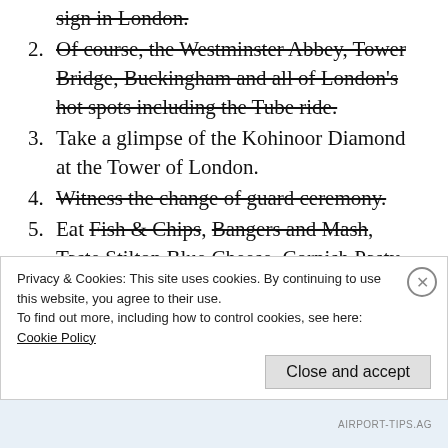sign in London. [strikethrough, partial/cropped at top]
2. Of course, the Westminster Abbey, Tower Bridge, Buckingham and all of London's hot spots including the Tube ride. [strikethrough]
3. Take a glimpse of the Kohinoor Diamond at the Tower of London.
4. Witness the change of guard ceremony. [strikethrough]
5. Eat Fish & Chips, Bangers and Mash, Taste Stilton Blue Cheese, Cornish Pasty and English Tea. [partial strikethrough]
6. Watch a football match in stadium. [strikethrough, partially visible]
Privacy & Cookies: This site uses cookies. By continuing to use this website, you agree to their use.
To find out more, including how to control cookies, see here: Cookie Policy
Close and accept